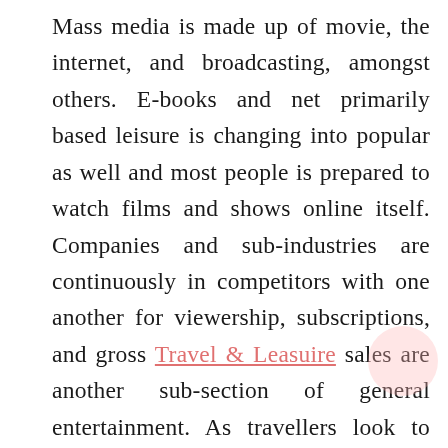Mass media is made up of movie, the internet, and broadcasting, amongst others. E-books and net primarily based leisure is changing into popular as well and most people is prepared to watch films and shows online itself. Companies and sub-industries are continuously in competitors with one another for viewership, subscriptions, and gross Travel & Leasuire sales are another sub-section of general entertainment. As travellers look to improve their holidays in search of post-Covid travel experiences, TUI is on a mission to broaden its offer beyond the package holiday. The travel big praises its